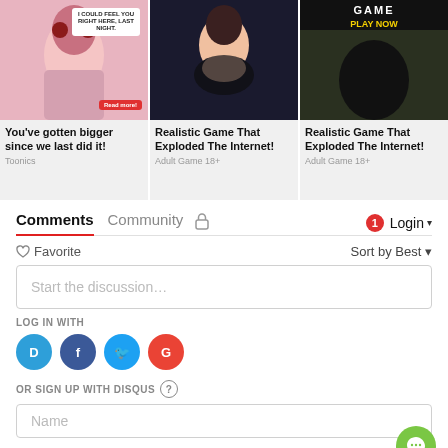[Figure (illustration): Anime-style illustration with speech bubble saying 'I COULD FEEL YOU RIGHT HERE, LAST NIGHT.' and a Read more button]
[Figure (illustration): AI-generated realistic anime girl in black swimwear]
[Figure (illustration): Game advertisement image with GAME PLAY NOW banner]
You've gotten bigger since we last did it!
Realistic Game That Exploded The Internet!
Realistic Game That Exploded The Internet!
Toonics
Adult Game 18+
Adult Game 18+
Comments
Community
1
Login
♡ Favorite
Sort by Best ▾
Start the discussion…
LOG IN WITH
OR SIGN UP WITH DISQUS ?
Name